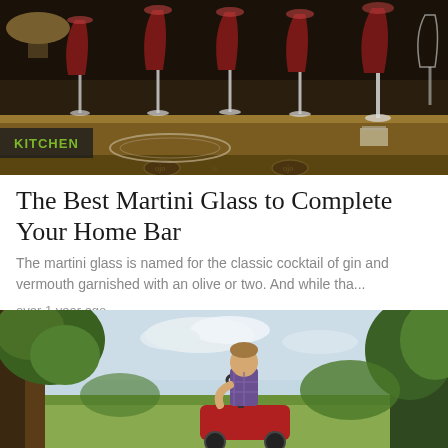[Figure (photo): Photo of multiple wine glasses (red wine) arranged on a wooden sideboard/console table in a dimly lit room]
KITCHEN
The Best Martini Glass to Complete Your Home Bar
The martini glass is named for the classic cocktail of gin and vermouth garnished with an olive or two. And while tha...
over 1 year ago
[Figure (photo): Photo of a man riding a lawn mower or outdoor power equipment outdoors, with trees in background and sky visible]